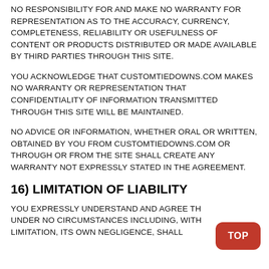NO RESPONSIBILITY FOR AND MAKE NO WARRANTY FOR REPRESENTATION AS TO THE ACCURACY, CURRENCY, COMPLETENESS, RELIABILITY OR USEFULNESS OF CONTENT OR PRODUCTS DISTRIBUTED OR MADE AVAILABLE BY THIRD PARTIES THROUGH THIS SITE.
YOU ACKNOWLEDGE THAT CUSTOMTIEDOWNS.COM MAKES NO WARRANTY OR REPRESENTATION THAT CONFIDENTIALITY OF INFORMATION TRANSMITTED THROUGH THIS SITE WILL BE MAINTAINED.
NO ADVICE OR INFORMATION, WHETHER ORAL OR WRITTEN, OBTAINED BY YOU FROM CUSTOMTIEDOWNS.COM OR THROUGH OR FROM THE SITE SHALL CREATE ANY WARRANTY NOT EXPRESSLY STATED IN THE AGREEMENT.
16) LIMITATION OF LIABILITY
YOU EXPRESSLY UNDERSTAND AND AGREE TH AT UNDER NO CIRCUMSTANCES INCLUDING, WITH OUT LIMITATION, ITS OWN NEGLIGENCE, SHALL